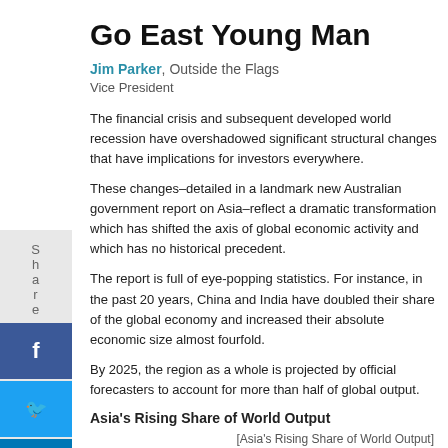Go East Young Man
Jim Parker, Outside the Flags
Vice President
The financial crisis and subsequent developed world recession have overshadowed significant structural changes that have implications for investors everywhere.
These changes–detailed in a landmark new Australian government report on Asia–reflect a dramatic transformation which has shifted the axis of global economic activity and which has no historical precedent.
The report is full of eye-popping statistics. For instance, in the past 20 years, China and India have doubled their share of the global economy and increased their absolute economic size almost fourfold.
By 2025, the region as a whole is projected by official forecasters to account for more than half of global output.
Asia's Rising Share of World Output
[Figure (other): Asia's Rising Share of World Output chart image placeholder]